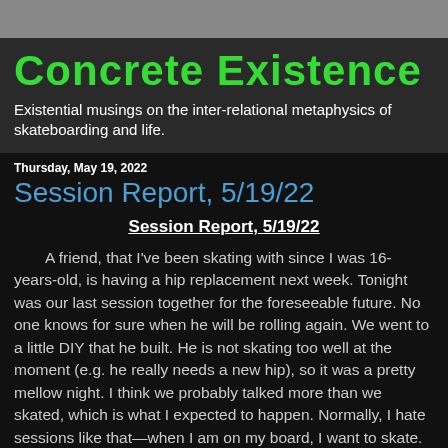Concrete Existence
Existential musings on the inter-relational metaphysics of skateboarding and life.
Thursday, May 19, 2022
Session Report, 5/19/22
Session Report, 5/19/22
A friend, that I've been skating with since I was 16-years-old, is having a hip replacement next week. Tonight was our last session together for the foreseeable future. No one knows for sure when he will be rolling again. We went to a little DIY that he built. He is not skating too well at the moment (e.g. he really needs a new hip), so it was a pretty mellow night. I think we probably talked more than we skated, which is what I expected to happen. Normally, I hate sessions like that—when I am on my board, I want to skate.